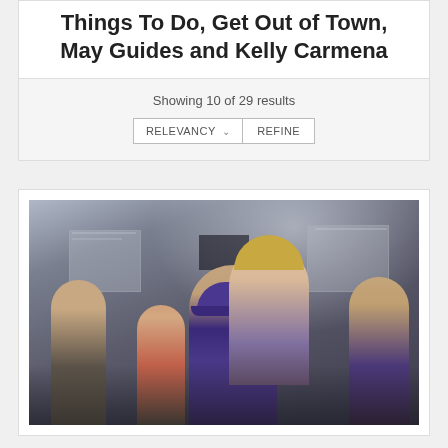Things To Do, Get Out of Town, May Guides and Kelly Carmena
Showing 10 of 29 results
[Figure (photo): Family photo showing a group of people including adults and children, smiling indoors in a dimly lit room. A man wearing a purple cap and shirt is in the center surrounded by children and a woman.]